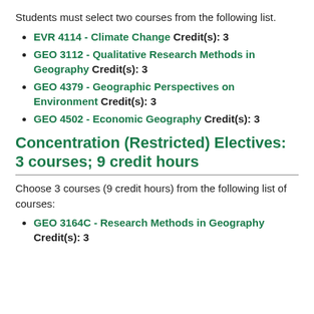Students must select two courses from the following list.
EVR 4114 - Climate Change Credit(s): 3
GEO 3112 - Qualitative Research Methods in Geography Credit(s): 3
GEO 4379 - Geographic Perspectives on Environment Credit(s): 3
GEO 4502 - Economic Geography Credit(s): 3
Concentration (Restricted) Electives: 3 courses; 9 credit hours
Choose 3 courses (9 credit hours) from the following list of courses:
GEO 3164C - Research Methods in Geography Credit(s): 3